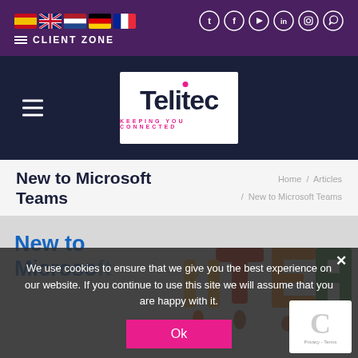CLIENT ZONE | Social icons: Twitter, Facebook, YouTube, LinkedIn, Instagram, WhatsApp | Flag icons: Spanish, English, Dutch, German, French
[Figure (logo): Telitec logo - dark navy background with white logo box containing 'Telitec' text with pink dot and 'KEEPING YOU CONNECTED' subtitle in pink]
New to Microsoft Teams
Home / Articles / New to Microsoft Teams
[Figure (photo): Colorful 3D letter/character figures spelling TEAM on gray background, with article title overlay 'New to Microsoft' in blue]
We use cookies to ensure that we give you the best experience on our website. If you continue to use this site we will assume that you are happy with it.
Ok